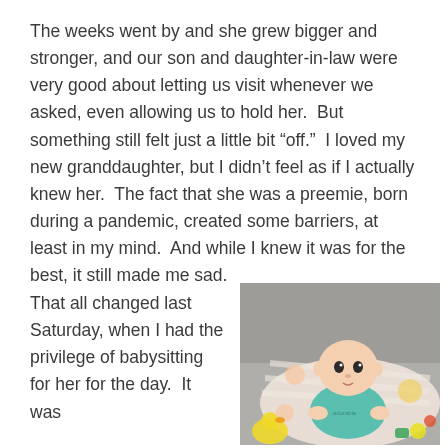The weeks went by and she grew bigger and stronger, and our son and daughter-in-law were very good about letting us visit whenever we asked, even allowing us to hold her.  But something still felt just a little bit “off.”  I loved my new granddaughter, but I didn’t feel as if I actually knew her.  The fact that she was a preemie, born during a pandemic, created some barriers, at least in my mind.  And while I knew it was for the best, it still made me sad.
That all changed last Saturday, when I had the privilege of babysitting for her for the day.  It was
[Figure (photo): Photo of a baby lying on a floral nursing pillow on a gray couch, wearing a teal onesie with 'adorable' text, surrounded by colorful toys]